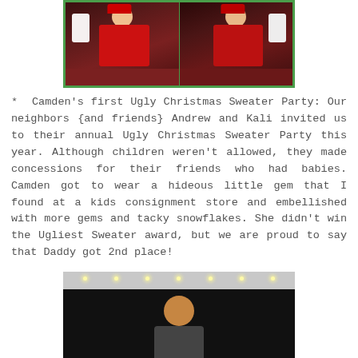[Figure (photo): Two side-by-side photos of a baby dressed in a Christmas outfit sitting with Santa Claus, framed with a green border]
* Camden's first Ugly Christmas Sweater Party: Our neighbors {and friends} Andrew and Kali invited us to their annual Ugly Christmas Sweater Party this year. Although children weren't allowed, they made concessions for their friends who had babies. Camden got to wear a hideous little gem that I found at a kids consignment store and embellished with more gems and tacky snowflakes. She didn't win the Ugliest Sweater award, but we are proud to say that Daddy got 2nd place!
[Figure (photo): Photo of a bald man standing indoors under string lights at what appears to be a party venue]